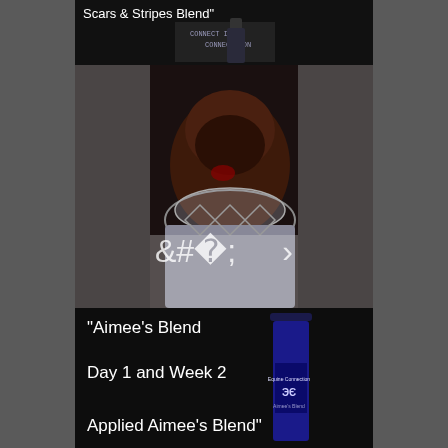[Figure (screenshot): Screenshot of a product page/slideshow showing images of a pet care product called 'Scars & Stripes Blend' and 'Aimee's Blend'. Top panel shows product bottle with text 'Scars & Stripes Blend'. Middle panel shows a dog wearing a cone collar (e-collar), with navigation arrows on left and right. Bottom panel shows 'Aimee's Blend' text overlay with blue product bottle and text 'Day 1 and Week 2' and 'Applied Aimee's Blend'.]